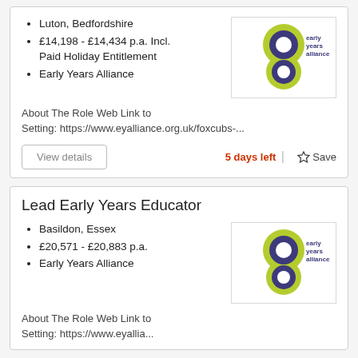Luton, Bedfordshire
£14,198 - £14,434 p.a. Incl. Paid Holiday Entitlement
Early Years Alliance
[Figure (logo): Early Years Alliance logo — stylized figure-8 in lime green and navy/purple with text 'early years alliance']
About The Role Web Link to Setting: https://www.eyalliance.org.uk/foxcubs-...
View details
5 days left
Save
Lead Early Years Educator
Basildon, Essex
£20,571 - £20,883 p.a.
Early Years Alliance
[Figure (logo): Early Years Alliance logo — stylized figure-8 in lime green and navy/purple with text 'early years alliance']
About The Role Web Link to Setting: https://www.eyallia...